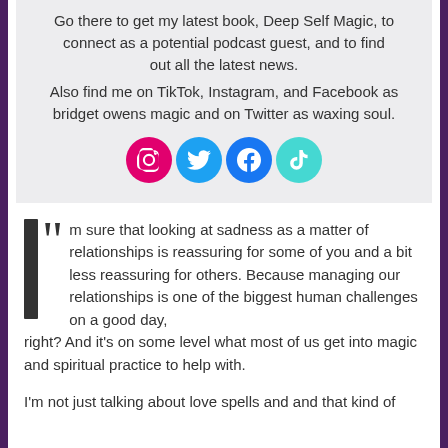Go there to get my latest book, Deep Self Magic, to connect as a potential podcast guest, and to find out all the latest news. Also find me on TikTok, Instagram, and Facebook as bridget owens magic and on Twitter as waxing soul.
[Figure (infographic): Four social media icons in circles: Instagram (pink), Twitter (blue), Facebook (dark blue), TikTok (cyan)]
I'm sure that looking at sadness as a matter of relationships is reassuring for some of you and a bit less reassuring for others. Because managing our relationships is one of the biggest human challenges on a good day, right? And it's on some level what most of us get into magic and spiritual practice to help with.
I'm not just talking about love spells and and that kind of